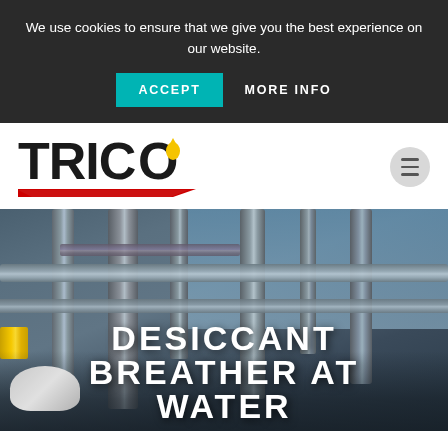We use cookies to ensure that we give you the best experience on our website.
ACCEPT
MORE INFO
[Figure (logo): TRICO logo with yellow oil drop and red chevron underline]
[Figure (photo): Industrial pipes and equipment at a refinery or plant, worker in hard hat and safety gear visible in foreground]
DESICCANT BREATHER AT WATER